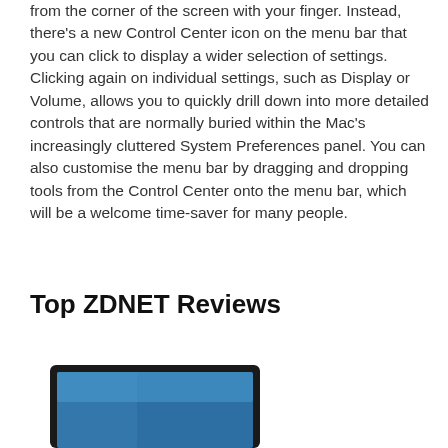from the corner of the screen with your finger. Instead, there's a new Control Center icon on the menu bar that you can click to display a wider selection of settings. Clicking again on individual settings, such as Display or Volume, allows you to quickly drill down into more detailed controls that are normally buried within the Mac's increasingly cluttered System Preferences panel. You can also customise the menu bar by dragging and dropping tools from the Control Center onto the menu bar, which will be a welcome time-saver for many people.
Top ZDNET Reviews
[Figure (illustration): Partial view of a tablet or monitor device with a blue screen, showing just the top portion of the device]